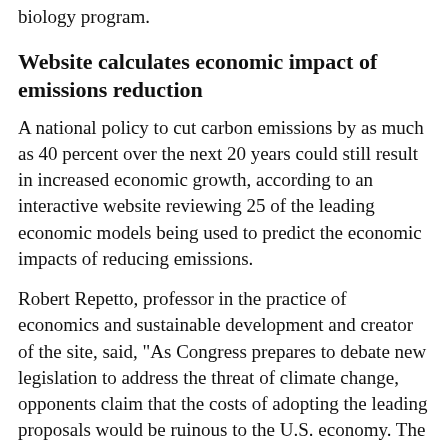biology program.
Website calculates economic impact of emissions reduction
A national policy to cut carbon emissions by as much as 40 percent over the next 20 years could still result in increased economic growth, according to an interactive website reviewing 25 of the leading economic models being used to predict the economic impacts of reducing emissions.
Robert Repetto, professor in the practice of economics and sustainable development and creator of the site, said, "As Congress prepares to debate new legislation to address the threat of climate change, opponents claim that the costs of adopting the leading proposals would be ruinous to the U.S. economy. The world's leading economists who have studied the issue say that's wrong. And you can find out